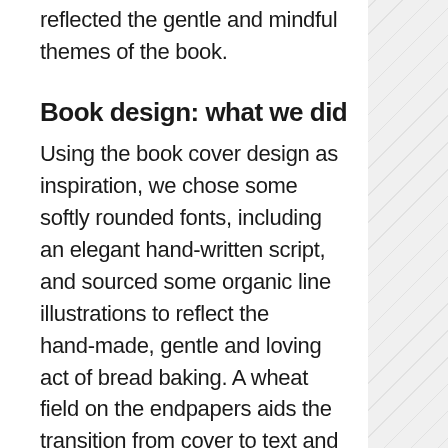reflected the gentle and mindful themes of the book.
Book design: what we did
Using the book cover design as inspiration, we chose some softly rounded fonts, including an elegant hand-written script, and sourced some organic line illustrations to reflect the hand-made, gentle and loving act of bread baking. A wheat field on the endpapers aids the transition from cover to text and the illustrations are carefully scattered throughout to mark new sections,